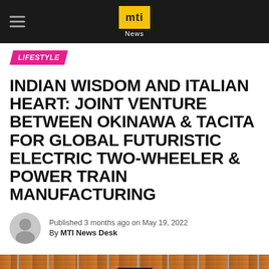mti News
LIFESTYLE
INDIAN WISDOM AND ITALIAN HEART: JOINT VENTURE BETWEEN OKINAWA & TACITA FOR GLOBAL FUTURISTIC ELECTRIC TWO-WHEELER & POWER TRAIN MANUFACTURING
Published 3 months ago on May 19, 2022
By MTI News Desk
[Figure (photo): Photograph of a structure with an orange tiled roof, metal rails, and a dark blue pennant/flag banner, with light blue curtains or banners below]